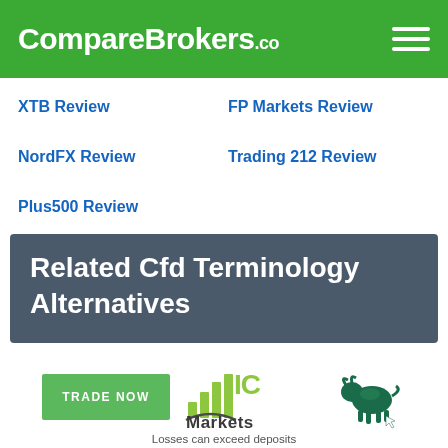CompareBrokers.co
XTB Review
FP Markets Review
NordFX Review
Trading 212 Review
Plus500 Review
Related Cfd Terminology Alternatives
[Figure (logo): IC Markets logo with bar chart icon and bull figurine, TRADE NOW green button, and tagline 'Losses can exceed deposits']